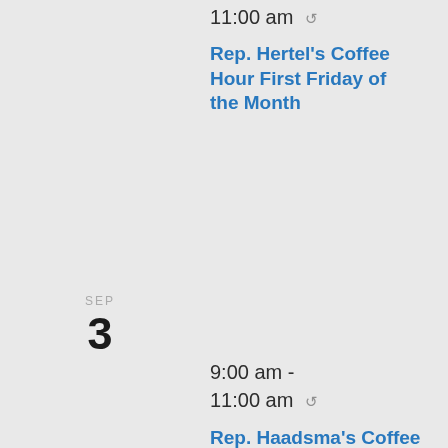11:00 am ↺
Rep. Hertel's Coffee Hour First Friday of the Month
SEP
3
9:00 am - 11:00 am ↺
Rep. Haadsma's Coffee Hour First Saturday of the Month 9-11 AM
SEP
3
1:00 pm - 2:30 pm ↺